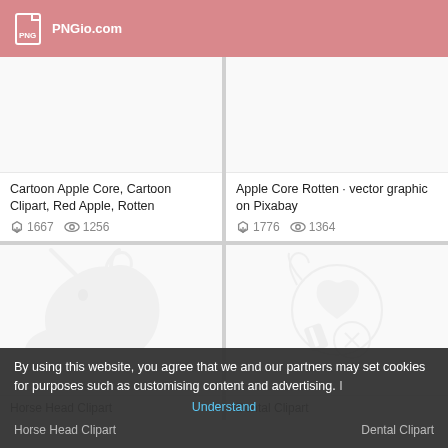PNGio.com
Cartoon Apple Core, Cartoon Clipart, Red Apple, Rotten
1667 downloads · 1256 views
Apple Core Rotten · vector graphic on Pixabay
1776 downloads · 1364 views
[Figure (illustration): Faint watermark-style horse head clipart illustration]
Horse Head Clipart
[Figure (illustration): Faint watermark-style dental clipart illustration]
Dental Clipart
By using this website, you agree that we and our partners may set cookies for purposes such as customising content and advertising. I
Understand